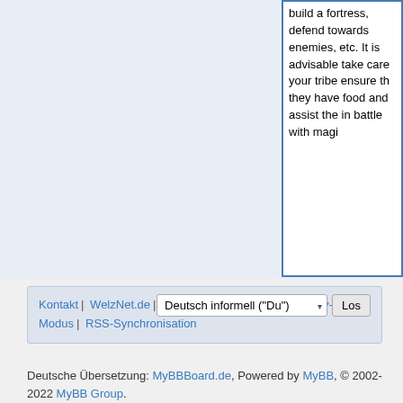build a fortress, defend towards enemies, etc. It is advisable take care your tribe ensure th they have food and assist the in battle with magi
Kontakt | WelzNet.de | Nach oben | Zum Inhalt | Archiv-Modus | RSS-Synchronisation
Deutsch informell ("Du") Los
Deutsche Übersetzung: MyBBBoard.de, Powered by MyBB, © 2002-2022 MyBB Group.